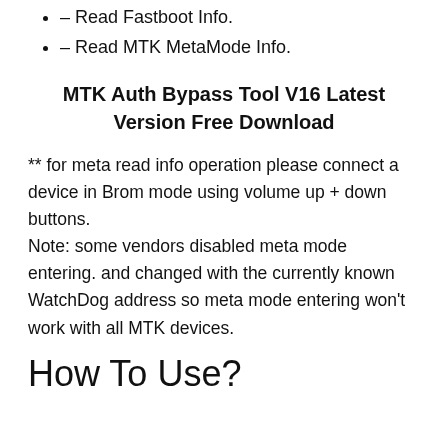– Read Fastboot Info.
– Read MTK MetaMode Info.
MTK Auth Bypass Tool V16 Latest Version Free Download
** for meta read info operation please connect a device in Brom mode using volume up + down buttons.
Note: some vendors disabled meta mode entering. and changed with the currently known WatchDog address so meta mode entering won't work with all MTK devices.
How To Use?